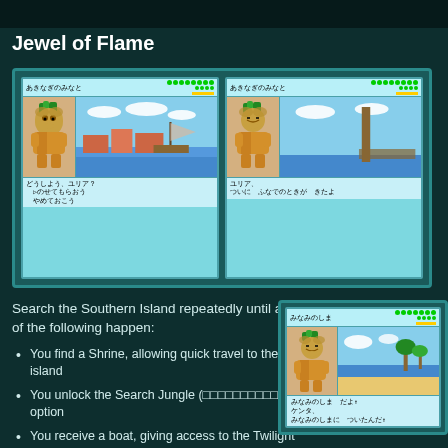Jewel of Flame
[Figure (screenshot): Two game screenshots side by side showing Japanese RPG dialog. Left: character at あきなぎのみなと with dialog どうしよう、ユリア? / ▷のせてもらおう / やめておこう. Right: same location with dialog ユリア、 / ついに ふなでのときが きたよ]
After in now recru will tell yo located o hobbit us option at tell them ask. After the South
Search the Southern Island repeatedly until all of the following happen:
You find a Shrine, allowing quick travel to the island
You unlock the Search Jungle (□□□□□□□□□□) option
You receive a boat, giving access to the Twilight Sea (□□□□
[Figure (screenshot): Game screenshot showing みなみのしま location with character dialog: みなみのしま だよ↑ / ケンタ、 / みなみのしまに ついたんだ↑]